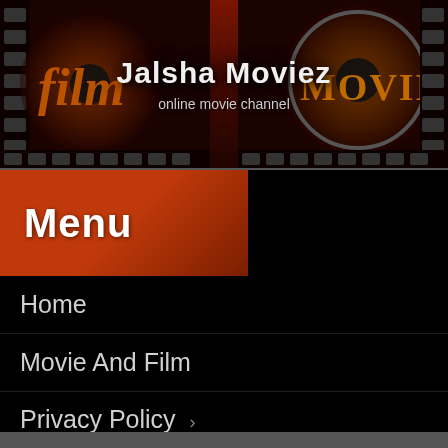Jalsha Moviez — online movie channel
Menu
Home
Movie And Film
Privacy Policy ›
DMCA Policy
Terms of Use
Contact Us